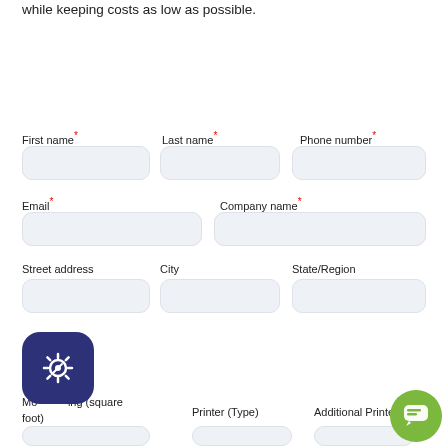while keeping costs as low as possible.
First name* Last name* Phone number*
Email* Company name*
Street address City State/Region
Mo___ing (square foot) Printer (Type) Additional Printer (Type)